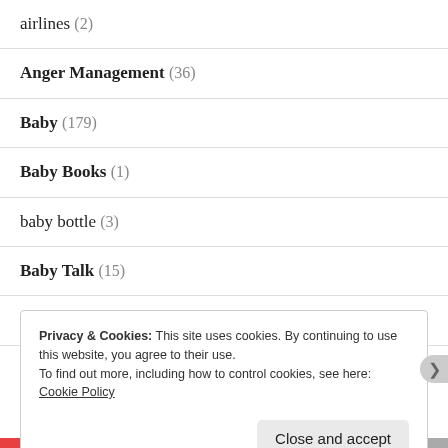airlines (2)
Anger Management (36)
Baby (179)
Baby Books (1)
baby bottle (3)
Baby Talk (15)
Babysitting (1)
Privacy & Cookies: This site uses cookies. By continuing to use this website, you agree to their use.
To find out more, including how to control cookies, see here: Cookie Policy
Close and accept